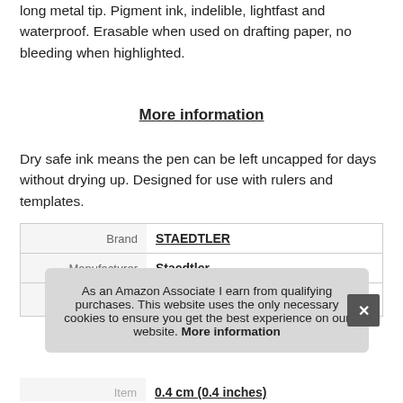STAEDTLER – Fineliner for writing, sketching and drawing with long metal tip. Pigment ink, indelible, lightfast and waterproof. Erasable when used on drafting paper, no bleeding when highlighted.
More information
Dry safe ink means the pen can be left uncapped for days without drying up. Designed for use with rulers and templates.
|  |  |
| --- | --- |
| Brand | STAEDTLER |
| Manufacturer | Staedtler |
As an Amazon Associate I earn from qualifying purchases. This website uses the only necessary cookies to ensure you get the best experience on our website. More information
Item | 0.4 cm (0.4 inches)